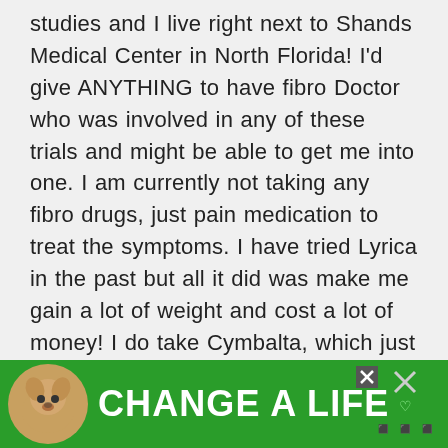studies and I live right next to Shands Medical Center in North Florida! I'd give ANYTHING to have fibro Doctor who was involved in any of these trials and might be able to get me into one. I am currently not taking any fibro drugs, just pain medication to treat the symptoms. I have tried Lyrica in the past but all it did was make me gain a lot of weight and cost a lot of money! I do take Cymbalta, which just barely keeps my depression in check. Does
[Figure (other): Advertisement banner with green background showing a dog image and text 'CHANGE A LIFE' with a close button and heart icon]